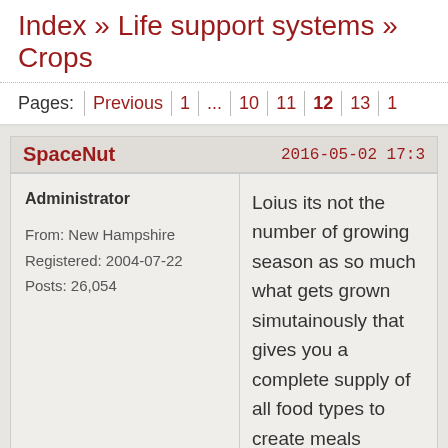Index » Life support systems » Crops
Pages:  Previous | 1 | ... | 10 | 11 | 12 | 13 | 1
SpaceNut   2016-05-02 17:3
Administrator
From: New Hampshire
Registered: 2004-07-22
Posts: 26,054
Loius its not the number of growing season as so much what gets grown simutainously that gives you a complete supply of all food types to create meals from....matching cycles to provide just the right amount of